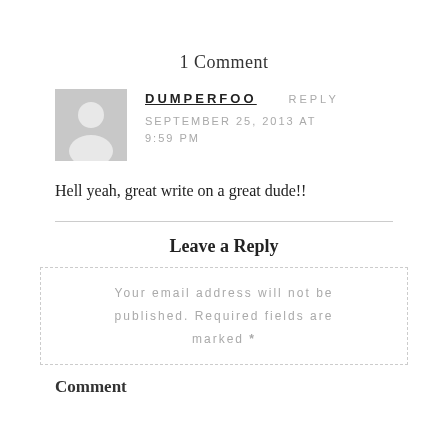1 Comment
DUMPERFOO   REPLY
SEPTEMBER 25, 2013 AT 9:59 PM
Hell yeah, great write on a great dude!!
Leave a Reply
Your email address will not be published. Required fields are marked *
Comment